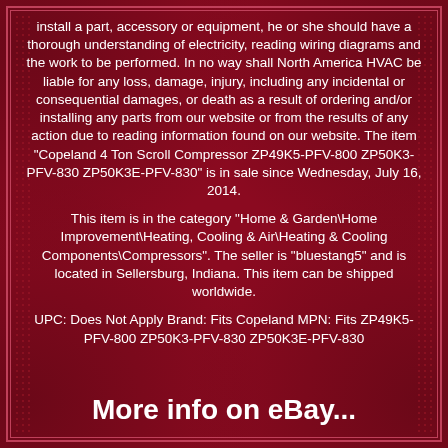install a part, accessory or equipment, he or she should have a thorough understanding of electricity, reading wiring diagrams and the work to be performed. In no way shall North America HVAC be liable for any loss, damage, injury, including any incidental or consequential damages, or death as a result of ordering and/or installing any parts from our website or from the results of any action due to reading information found on our website. The item "Copeland 4 Ton Scroll Compressor ZP49K5-PFV-800 ZP50K3-PFV-830 ZP50K3E-PFV-830" is in sale since Wednesday, July 16, 2014.
This item is in the category "Home & Garden\Home Improvement\Heating, Cooling & Air\Heating & Cooling Components\Compressors". The seller is "bluestang5" and is located in Sellersburg, Indiana. This item can be shipped worldwide.
UPC: Does Not Apply Brand: Fits Copeland MPN: Fits ZP49K5-PFV-800 ZP50K3-PFV-830 ZP50K3E-PFV-830
More info on eBay...